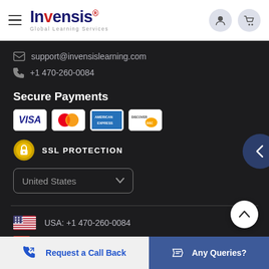[Figure (logo): Invensis Global Learning Services logo with hamburger menu, user and cart icons in white nav bar]
support@invensislearning.com
+1 470-260-0084
Secure Payments
[Figure (illustration): Payment card icons: VISA, Mastercard, American Express, Discover]
SSL PROTECTION
[Figure (illustration): United States country selector dropdown]
USA: +1 470-260-0084
Switzerland: +41 22 518 20 42
Request a Call Back
Any Queries?